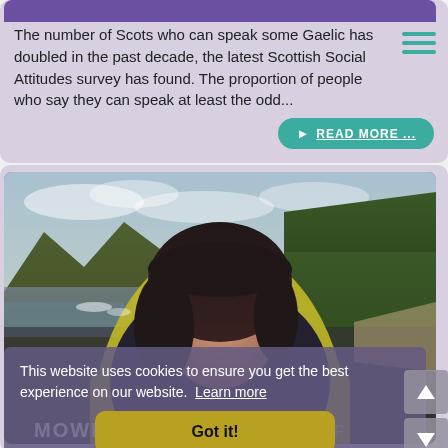The number of Scots who can speak some Gaelic has doubled in the past decade, the latest Scottish Social Attitudes survey has found. The proportion of people who say they can speak at least the odd...
READ MORE ...
[Figure (photo): Photo of a woman with dark hair wearing a yellow-green jacket, standing in front of a Scottish loch with hills and trees in the background. She is smiling at the camera. A MOWI logo is partially visible at the bottom.]
This website uses cookies to ensure you get the best experience on our website. Learn more
Got it!